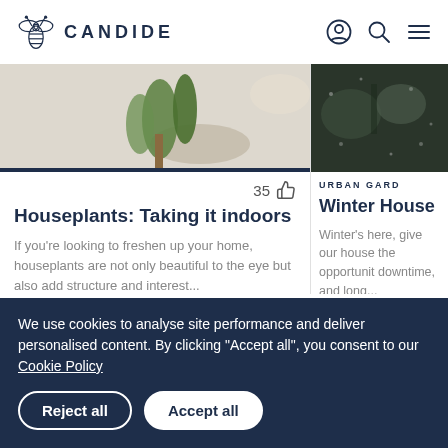CANDIDE
[Figure (photo): Houseplant photo showing green leaves on a light background]
35 likes
Houseplants: Taking it indoors
If you're looking to freshen up your home, houseplants are not only beautiful to the eye but also add structure and interest...
[Figure (photo): Dark background with stone/pebble texture - second article image]
URBAN GARD
Winter House
Winter's here, give our house the opportunit downtime, and long...
We use cookies to analyse site performance and deliver personalised content. By clicking "Accept all", you consent to our Cookie Policy
Reject all
Accept all